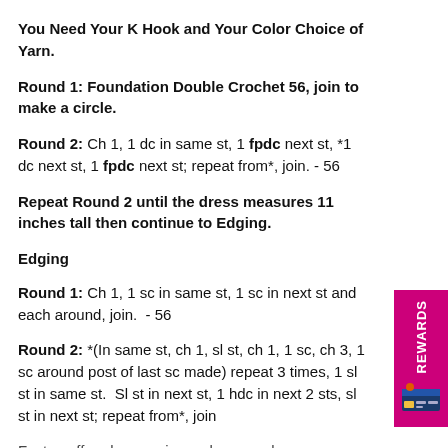You Need Your K Hook and Your Color Choice of Yarn.
Round 1: Foundation Double Crochet 56, join to make a circle.
Round 2: Ch 1, 1 dc in same st, 1 fpdc next st, *1 dc next st, 1 fpdc next st; repeat from*, join. - 56
Repeat Round 2 until the dress measures 11 inches tall then continue to Edging.
Edging
Round 1: Ch 1, 1 sc in same st, 1 sc in next st and each around, join.  - 56
Round 2: *(In same st, ch 1, sl st, ch 1, 1 sc, ch 3, 1 sc around post of last sc made) repeat 3 times, 1 sl st in same st.  Sl st in next st, 1 hdc in next 2 sts, sl st in next st; repeat from*, join
Fasten off and weave in any loose ends.